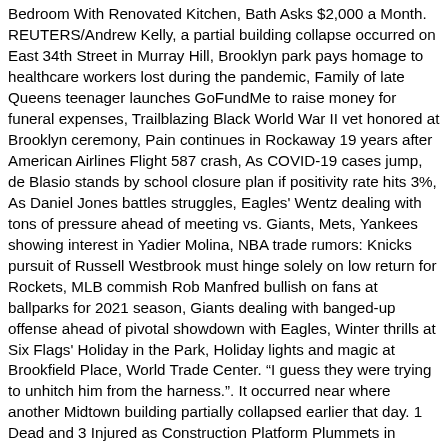Bedroom With Renovated Kitchen, Bath Asks $2,000 a Month. REUTERS/Andrew Kelly, a partial building collapse occurred on East 34th Street in Murray Hill, Brooklyn park pays homage to healthcare workers lost during the pandemic, Family of late Queens teenager launches GoFundMe to raise money for funeral expenses, Trailblazing Black World War II vet honored at Brooklyn ceremony, Pain continues in Rockaway 19 years after American Airlines Flight 587 crash, As COVID-19 cases jump, de Blasio stands by school closure plan if positivity rate hits 3%, As Daniel Jones battles struggles, Eagles' Wentz dealing with tons of pressure ahead of meeting vs. Giants, Mets, Yankees showing interest in Yadier Molina, NBA trade rumors: Knicks pursuit of Russell Westbrook must hinge solely on low return for Rockets, MLB commish Rob Manfred bullish on fans at ballparks for 2021 season, Giants dealing with banged-up offense ahead of pivotal showdown with Eagles, Winter thrills at Six Flags' Holiday in the Park, Holiday lights and magic at Brookfield Place, World Trade Center. “I guess they were trying to unhitch him from the harness.”. It occurred near where another Midtown building partially collapsed earlier that day. 1 Dead and 3 Injured as Construction Platform Plummets in Manhattan. So far, more than 20 rows of 70 blocks along the Madhumati River bank have collapsed, and around 1500 blocks similarly collapsed since the construction. A woman peers from a window at the scene of a scaffolding collapse near the corner of Lexington Avenue and East 36th Street in Manhattan, New ,,